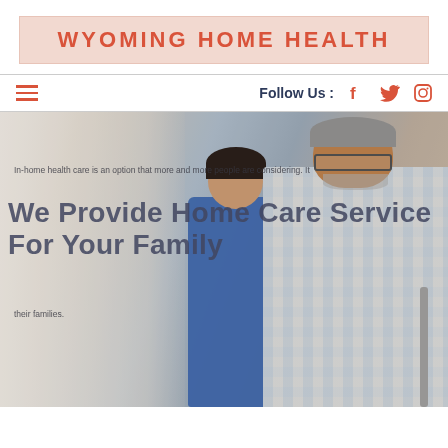WYOMING HOME HEALTH
Follow Us :
[Figure (screenshot): Website screenshot showing Wyoming Home Health home page with a hero image of a nurse in blue scrubs assisting an elderly man with a walker. Overlaid text reads 'We Provide Home Care Service For Your Family' with smaller text about in-home health care options.]
In-home health care is an option that more and more people are considering.
We Provide Home Care Service For Your Family
their families.